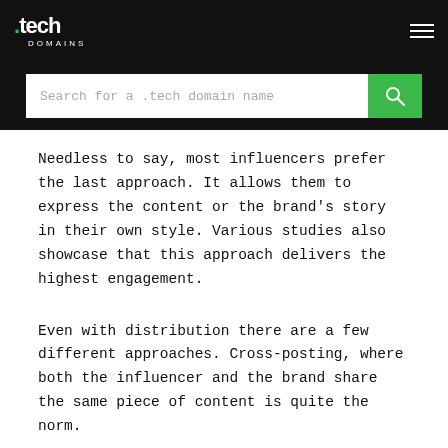.tech DOMAINS
Search for a .tech domain name
Needless to say, most influencers prefer the last approach. It allows them to express the content or the brand’s story in their own style. Various studies also showcase that this approach delivers the highest engagement.
Even with distribution there are a few different approaches. Cross-posting, where both the influencer and the brand share the same piece of content is quite the norm.
However, campaigns can also be conceived where